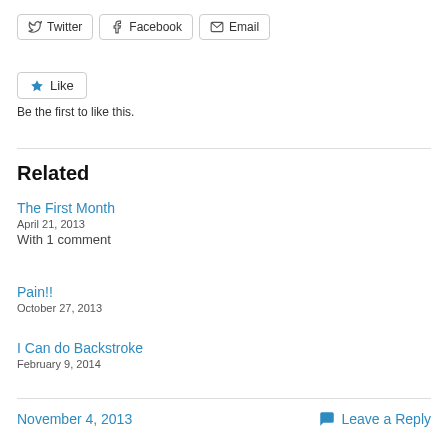[Figure (other): Social share buttons: Twitter, Facebook, Email]
[Figure (other): Like button with star icon]
Be the first to like this.
Related
The First Month
April 21, 2013
With 1 comment
Pain!!
October 27, 2013
I Can do Backstroke
February 9, 2014
November 4, 2013    Leave a Reply